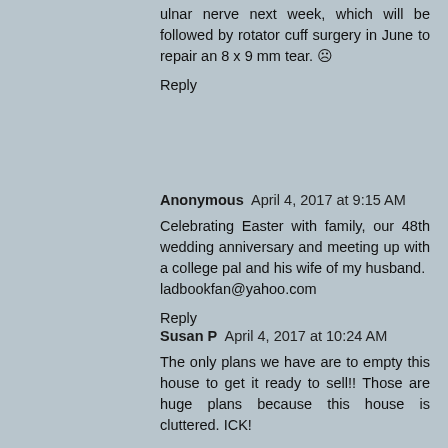ulnar nerve next week, which will be followed by rotator cuff surgery in June to repair an 8 x 9 mm tear. ☹
Reply
Anonymous  April 4, 2017 at 9:15 AM
Celebrating Easter with family, our 48th wedding anniversary and meeting up with a college pal and his wife of my husband.
ladbookfan@yahoo.com
Reply
[Figure (logo): Blogger orange circle avatar icon]
Susan P  April 4, 2017 at 10:24 AM
The only plans we have are to empty this house to get it ready to sell!! Those are huge plans because this house is cluttered. ICK!
Reply